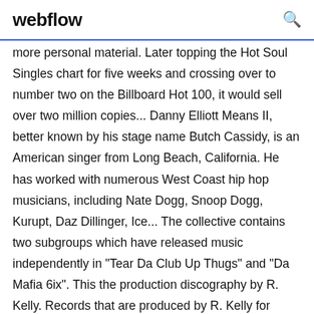webflow
more personal material. Later topping the Hot Soul Singles chart for five weeks and crossing over to number two on the Billboard Hot 100, it would sell over two million copies... Danny Elliott Means II, better known by his stage name Butch Cassidy, is an American singer from Long Beach, California. He has worked with numerous West Coast hip hop musicians, including Nate Dogg, Snoop Dogg, Kurupt, Daz Dillinger, Ice... The collective contains two subgroups which have released music independently in "Tear Da Club Up Thugs" and "Da Mafia 6ix". This the production discography by R. Kelly. Records that are produced by R. Kelly for himself or him as a featuring artist are